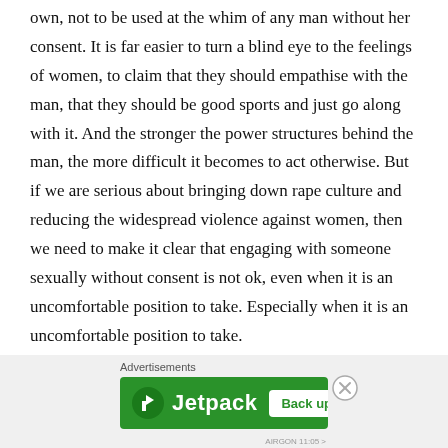own, not to be used at the whim of any man without her consent. It is far easier to turn a blind eye to the feelings of women, to claim that they should empathise with the man, that they should be good sports and just go along with it. And the stronger the power structures behind the man, the more difficult it becomes to act otherwise. But if we are serious about bringing down rape culture and reducing the widespread violence against women, then we need to make it clear that engaging with someone sexually without consent is not ok, even when it is an uncomfortable position to take. Especially when it is an uncomfortable position to take.
[Figure (other): Advertisement banner for Jetpack with green background, Jetpack logo on the left, and 'Back up your site' button on the right. Labeled 'Advertisements' above.]